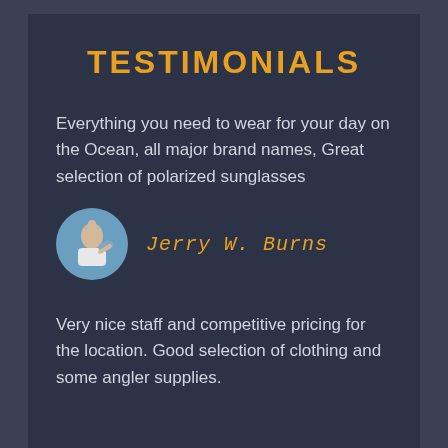TESTIMONIALS
Everything you need to wear for your day on the Ocean, all major brand names, Great selection of polarized sunglasses
[Figure (photo): Circular avatar photo of a person holding a fish, outdoors with blue sky background]
Jerry W. Burns
Very nice staff and competitive pricing for the location. Good selection of clothing and some angler supplies.